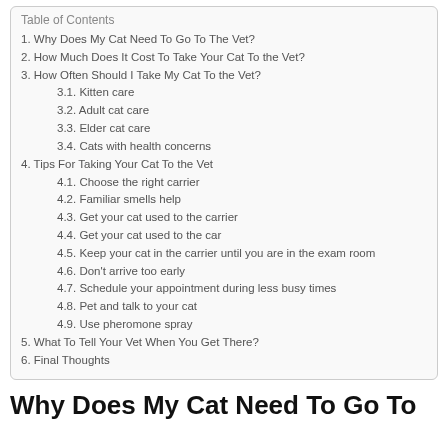Table of Contents
1. Why Does My Cat Need To Go To The Vet?
2. How Much Does It Cost To Take Your Cat To the Vet?
3. How Often Should I Take My Cat To the Vet?
3.1. Kitten care
3.2. Adult cat care
3.3. Elder cat care
3.4. Cats with health concerns
4. Tips For Taking Your Cat To the Vet
4.1. Choose the right carrier
4.2. Familiar smells help
4.3. Get your cat used to the carrier
4.4. Get your cat used to the car
4.5. Keep your cat in the carrier until you are in the exam room
4.6. Don't arrive too early
4.7. Schedule your appointment during less busy times
4.8. Pet and talk to your cat
4.9. Use pheromone spray
5. What To Tell Your Vet When You Get There?
6. Final Thoughts
Why Does My Cat Need To Go To